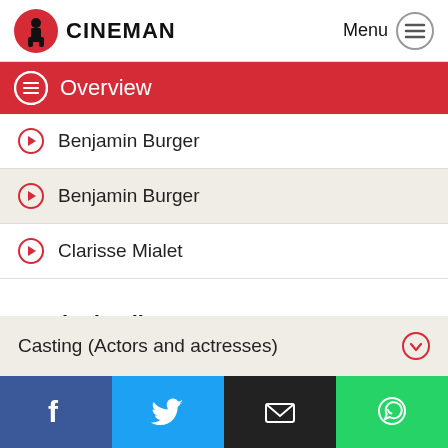CINEMAN | Menu
Overview
Benjamin Burger
Benjamin Burger
Clarisse Mialet
Movie details
Director
Casting (Actors and actresses)
Facebook | Twitter | Email | WhatsApp